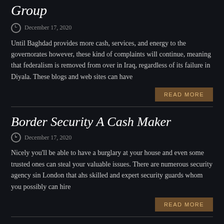Group
December 17, 2020
Until Baghdad provides more cash, services, and energy to the governorates however, these kind of complaints will continue, meaning that federalism is removed from over in Iraq, regardless of its failure in Diyala. These blogs and web sites can have
READ MORE
Border Security A Cash Maker
December 17, 2020
Nicely you'll be able to have a burglary at your house and even some trusted ones can steal your valuable issues. There are numerous security agency sin London that ahs skilled and expert security guards whom you possibly can hire
READ MORE
How Secure Is Your Computer Security Software?
December 17, 2020